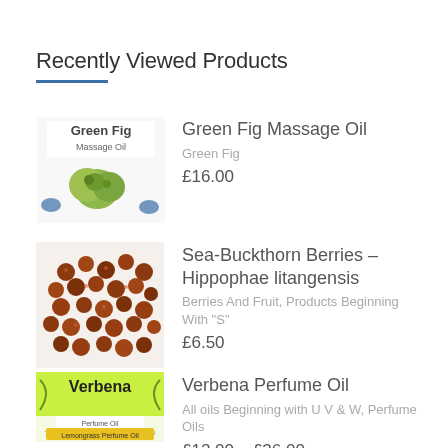Recently Viewed Products
Green Fig Massage Oil
Green Fig
£16.00
Sea-Buckthorn Berries – Hippophae litangensis
Berries And Fruit, Products Beginning With "S"
£6.50
Verbena Perfume Oil
All oils Beginning with U V & W, Perfume Oils
£12.00 – £36.00